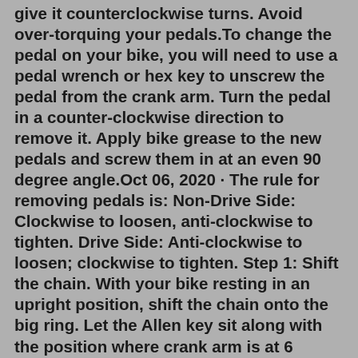give it counterclockwise turns. Avoid over-torquing your pedals.To change the pedal on your bike, you will need to use a pedal wrench or hex key to unscrew the pedal from the crank arm. Turn the pedal in a counter-clockwise direction to remove it. Apply bike grease to the new pedals and screw them in at an even 90 degree angle.Oct 06, 2020 · The rule for removing pedals is: Non-Drive Side: Clockwise to loosen, anti-clockwise to tighten. Drive Side: Anti-clockwise to loosen; clockwise to tighten. Step 1: Shift the chain. With your bike resting in an upright position, shift the chain onto the big ring. Let the Allen key sit along with the position where crank arm is at 6 O'clock direction. While the key is angling at 3 O'clock with a crank arm. And then you can hold the pedal firmly to turn it anti-clockwise. The pedal will gradually start to come off by getting loosened.Here are seven steps to follow when your bike pedal is stuck. Step 1: Apply the spray lubricant on the part of the bike pedal attached to the crank arm, and let it remain like that